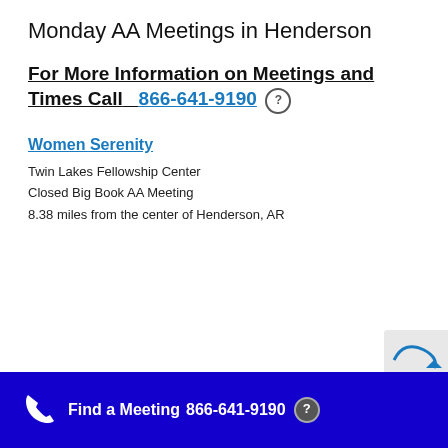Monday AA Meetings in Henderson
For More Information on Meetings and Times Call  866-641-9190
Women Serenity
Twin Lakes Fellowship Center
Closed Big Book AA Meeting
8.38 miles from the center of Henderson, AR
Find a Meeting  866-641-9190